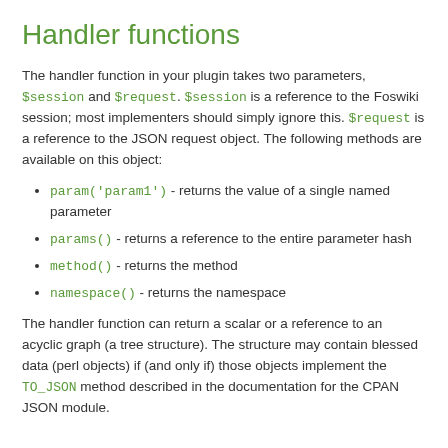Handler functions
The handler function in your plugin takes two parameters, $session and $request. $session is a reference to the Foswiki session; most implementers should simply ignore this. $request is a reference to the JSON request object. The following methods are available on this object:
param('param1') - returns the value of a single named parameter
params() - returns a reference to the entire parameter hash
method() - returns the method
namespace() - returns the namespace
The handler function can return a scalar or a reference to an acyclic graph (a tree structure). The structure may contain blessed data (perl objects) if (and only if) those objects implement the TO_JSON method described in the documentation for the CPAN JSON module.